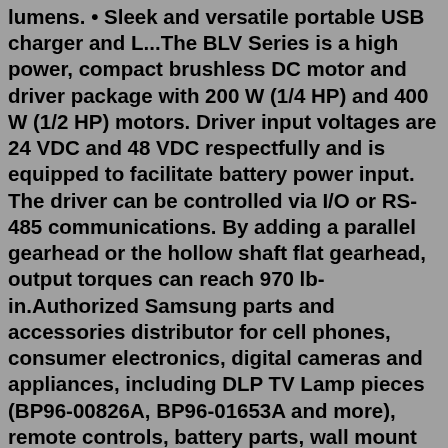lumens. • Sleek and versatile portable USB charger and L...The BLV Series is a high power, compact brushless DC motor and driver package with 200 W (1/4 HP) and 400 W (1/2 HP) motors. Driver input voltages are 24 VDC and 48 VDC respectfully and is equipped to facilitate battery power input. The driver can be controlled via I/O or RS-485 communications. By adding a parallel gearhead or the hollow shaft flat gearhead, output torques can reach 970 lb-in.Authorized Samsung parts and accessories distributor for cell phones, consumer electronics, digital cameras and appliances, including DLP TV Lamp pieces (BP96-00826A, BP96-01653A and more), remote controls, battery parts, wall mount equipment, AC Adapters and more.15% Off with code ZGETCREATIVE. Death (aka Fred) Tie. $27.90. 15% Off with code ZGETCREATIVE. Men's Emerald Valhalla Paradigm Power Tie. $33.70. 15% Off with code ZGETCREATIVE. Simple Classy Black and White Double Stripe on Red Neck Tie. $27.90 PerfectVision was founded and is operated...